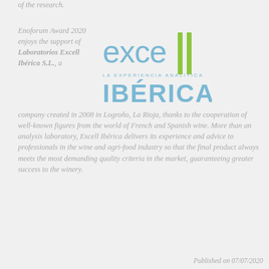of the research.
Enoforum Award 2020 enjoys the support of Laboratorios Excell Ibérica S.L., a company created in 2008 in Logroño, La Rioja, thanks to the cooperation of well-known figures from the world of French and Spanish wine. More than an analysis laboratory, Excell Ibérica delivers its experience and advice to professionals in the wine and agri-food industry so that the final product always meets the most demanding quality criteria in the market, guaranteeing greater success to the winery.
[Figure (logo): Excell Ibérica logo — stylized 'excell' text in blue with two green vertical bars, subtitle 'LA EXPERIENCIA ANALITICA', and 'IBÉRICA' in large blue letters below]
Published on 07/07/2020